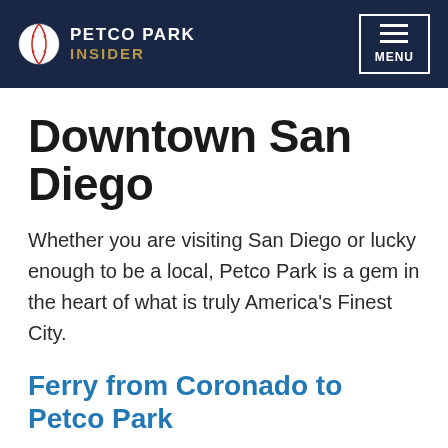PETCO PARK INSIDER | MENU
Downtown San Diego
Whether you are visiting San Diego or lucky enough to be a local, Petco Park is a gem in the heart of what is truly America's Finest City.
Ferry from Coronado to Petco Park